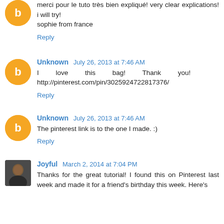merci pour le tuto très bien expliqué! very clear explications! i will try!
sophie from france
Reply
Unknown July 26, 2013 at 7:46 AM
I love this bag! Thank you!
http://pinterest.com/pin/3025924722817376/
Reply
Unknown July 26, 2013 at 7:46 AM
The pinterest link is to the one I made. :)
Reply
Joyful March 2, 2014 at 7:04 PM
Thanks for the great tutorial! I found this on Pinterest last week and made it for a friend's birthday this week. Here's